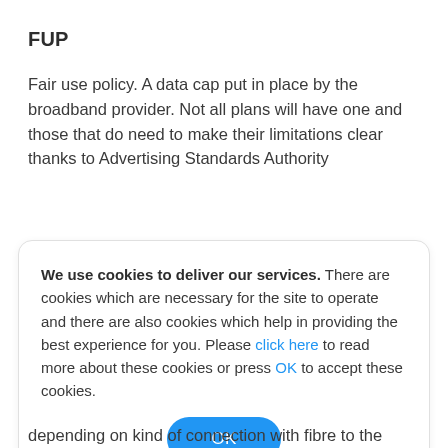FUP
Fair use policy. A data cap put in place by the broadband provider. Not all plans will have one and those that do need to make their limitations clear thanks to Advertising Standards Authority
We use cookies to deliver our services. There are cookies which are necessary for the site to operate and there are also cookies which help in providing the best experience for you. Please click here to read more about these cookies or press OK to accept these cookies.
depending on kind of connection with fibre to the